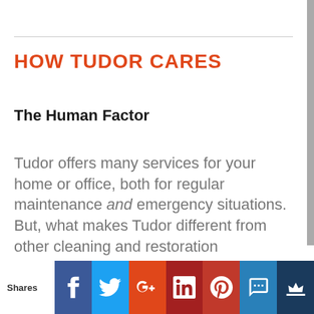HOW TUDOR CARES
The Human Factor
Tudor offers many services for your home or office, both for regular maintenance and emergency situations. But, what makes Tudor different from other cleaning and restoration companies?
"In service, what we do is about the same thing. But
Shares [Facebook] [Twitter] [Google+] [LinkedIn] [Pinterest] [SMS] [Crown]